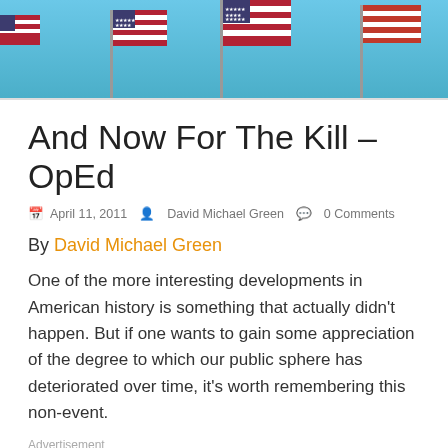[Figure (photo): Photograph of American flags and other flags waving against a blue sky, viewed from below.]
And Now For The Kill – OpEd
April 11, 2011   David Michael Green   0 Comments
By David Michael Green
One of the more interesting developments in American history is something that actually didn't happen. But if one wants to gain some appreciation of the degree to which our public sphere has deteriorated over time, it's worth remembering this non-event.
Advertisement